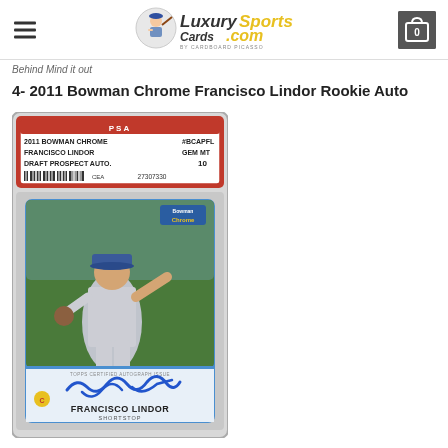[Figure (logo): LuxurySportsCards.com website header with hamburger menu, logo, and cart icon showing 0]
Behind Mind it out
4- 2011 Bowman Chrome Francisco Lindor Rookie Auto
[Figure (photo): PSA graded 2011 Bowman Chrome Francisco Lindor Draft Prospect Auto card, graded GEM MT 10, certification number 27307330, showing Lindor in Cleveland Indians uniform with blue autograph signature]